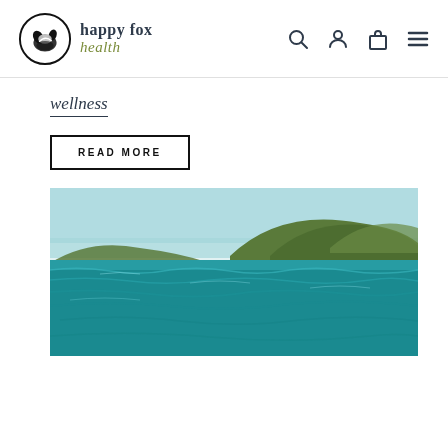[Figure (logo): Happy Fox Health logo: circular icon with fox/leaf silhouette and brand name text]
happy fox health — navigation header with search, account, cart, and menu icons
wellness
READ MORE
[Figure (photo): Ocean scene with turquoise choppy water and green hilly coastline under a light blue sky]